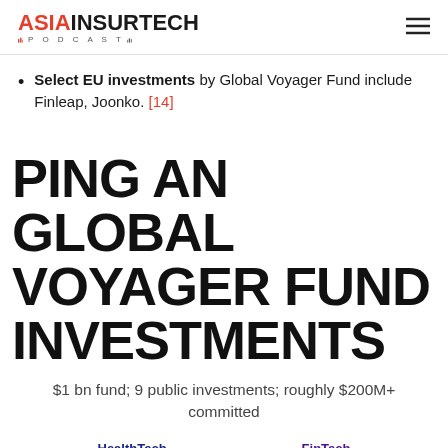ASIA INSURTECH PODCAST
Select EU investments by Global Voyager Fund include Finleap, Joonko. [14]
PING AN GLOBAL VOYAGER FUND INVESTMENTS
$1 bn fund; 9 public investments; roughly $200M+ committed
HealthTech   FinTech